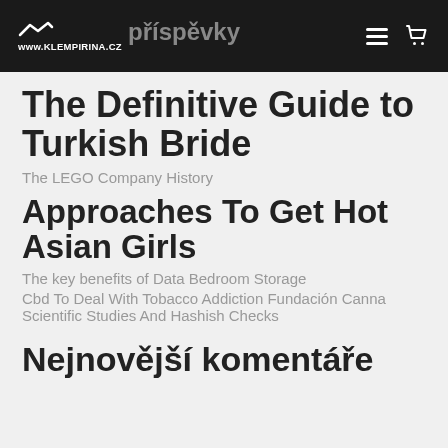www.KLEMPIRINA.CZ | Nejnovější příspěvky
The Definitive Guide to Turkish Bride
The LEGO Company History
Approaches To Get Hot Asian Girls
The key benefits of Data Bedroom Storage
Cbd To Deal With Tobacco Addiction Fundación Canna Scientific Studies And Hashish Checks
Nejnovější komentáře